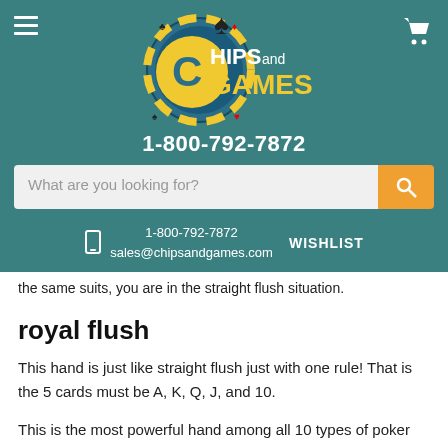[Figure (logo): Chips and Games logo with circular chip graphic, spade symbol, and yellow/white text reading CHIPS and GAMES, with phone number 1-800-792-7872]
What are you looking for?
1-800-792-7872
sales@chipsandgames.com
WISHLIST
the same suits, you are in the straight flush situation.
royal flush
This hand is just like straight flush just with one rule! That is the 5 cards must be A, K, Q, J, and 10.
This is the most powerful hand among all 10 types of poker hands.
Share: